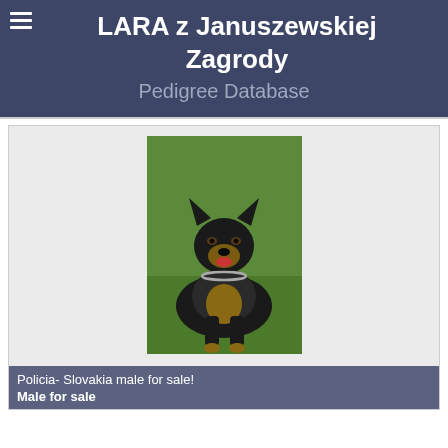LARA z Januszewskiej Zagrody
Pedigree Database
[Figure (photo): A German Shepherd dog lying on green grass, facing forward, wearing a chain collar. The dog has a dark black and tan coat with alert ears.]
Policia- Slovakia male for sale!
Male for sale